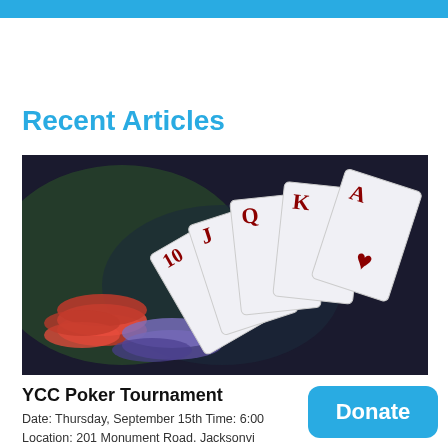Recent Articles
[Figure (photo): Close-up photo of playing cards (10, J, Q, K, A of hearts) fanned out with poker chips in the background on a dark surface.]
YCC Poker Tournament
Date: Thursday, September 15th Time: 6:00
Location: 201 Monument Road. Jacksonvi
Come join us at bestbet on Thursday, September 15th.